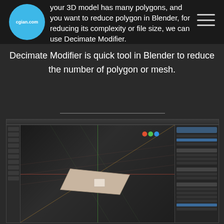cgian.com
your 3D model has many polygons, and you want to reduce polygon in Blender, for reducing its complexity or file size, we can use Decimate Modifier.
Decimate Modifier is quick tool in Blender to reduce the number of polygon or mesh.
[Figure (screenshot): Blender 3D software interface showing a flat plane mesh object in the viewport, with left toolbar, top header bar, and right properties panel visible. The scene shows a light-colored rectangular plane on a dark grid background.]